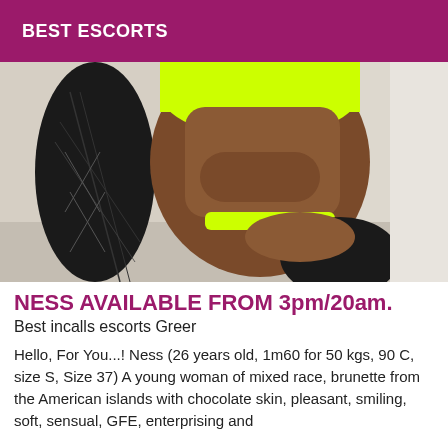BEST ESCORTS
[Figure (photo): Photo of a woman in neon yellow bikini and black lace stockings posing on a neutral background, showing torso and legs.]
NESS AVAILABLE FROM 3pm/20am.
Best incalls escorts Greer
Hello, For You...! Ness (26 years old, 1m60 for 50 kgs, 90 C, size S, Size 37) A young woman of mixed race, brunette from the American islands with chocolate skin, pleasant, smiling, soft, sensual, GFE, enterprising and